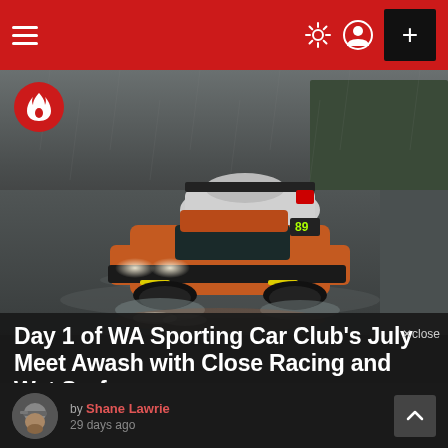Navigation bar with hamburger menu, sun/user icons, and plus button
[Figure (photo): Two racing cars on a wet circuit track in rainy conditions. Front car is orange/red (#89), behind it is a white Porsche-style car with headlights on. Track is glistening wet.]
Day 1 of WA Sporting Car Club's July Meet Awash with Close Racing and Wet Surfaces
by Shane Lawrie
29 days ago